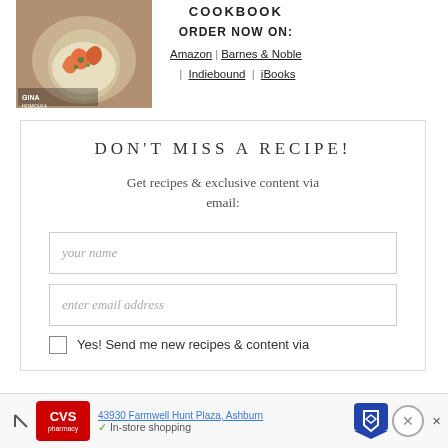[Figure (photo): Cookbook cover image showing shrimp dish on a plate]
COOKBOOK
ORDER NOW ON:
Amazon | Barnes & Noble | Indiebound | iBooks
DON'T MISS A RECIPE!
Get recipes & exclusive content via email:
your name
enter email address
Yes! Send me new recipes & content via
43930 Farmwell Hunt Plaza, Ashburn
In-store shopping